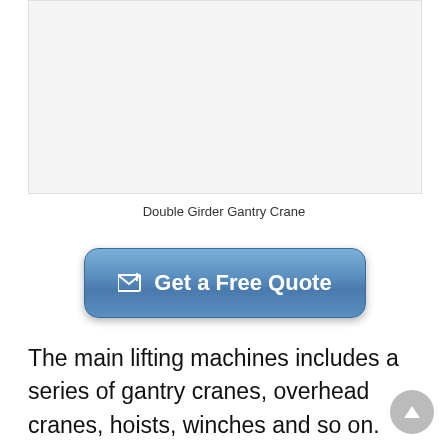[Figure (photo): Double Girder Gantry Crane photograph placeholder (light gray background)]
Double Girder Gantry Crane
[Figure (infographic): Blue rounded rectangle button with envelope/mail icon and text 'Get a Free Quote']
The main lifting machines includes a series of gantry cranes, overhead cranes, hoists, winches and so on. Including the gantry cranes, our group is powerful in supplying different kinds of gantry cranes. For example, the cranes in different lifting loads are produced such as 1 ton gantry crane, 2